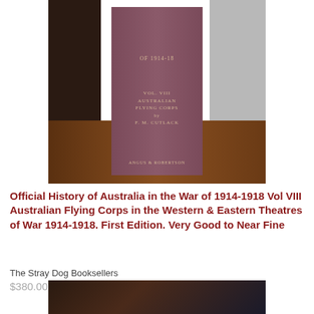[Figure (photo): Photo of a dark reddish-purple book spine standing upright on a wooden surface. The spine reads: VOL. VIII AUSTRALIAN FLYING CORPS by F. M. CUTLACK, with publisher ANGUS & ROBERTSON at the bottom. Dark wooden shelf visible on the left, grey wall on the right.]
Official History of Australia in the War of 1914-1918 Vol VIII Australian Flying Corps in the Western & Eastern Theatres of War 1914-1918. First Edition. Very Good to Near Fine
The Stray Dog Booksellers
$380.00 Sold Out
[Figure (photo): Partial photo of another book at the bottom of the page, partially cropped.]